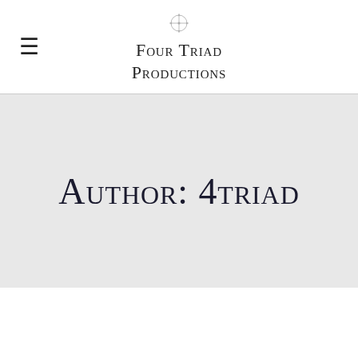Four Triad Productions
Author: 4triad